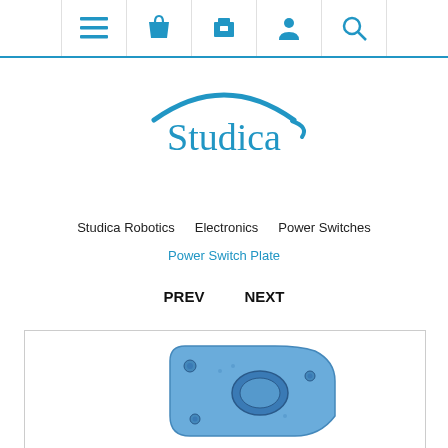Navigation bar with icons: menu, basket, bag, person, search
[Figure (logo): Studica logo with blue arc above the word 'Studica' in blue serif font]
Studica Robotics   Electronics   Power Switches
Power Switch Plate
PREV   NEXT
[Figure (photo): Blue power switch plate component, rounded rectangular shape with mounting holes, shown partially]